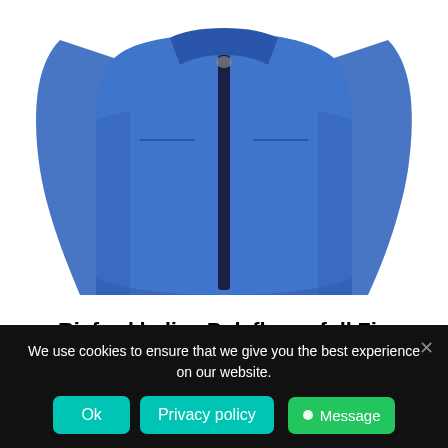[Figure (photo): Blue ladies polyfleece full zip jacket on white background, showing the front with dark zipper detail]
Rixford ladies Polyfleece full Zip
Add to basket
[Figure (photo): Partial view of another blue product (hat/beanie) at bottom of page, partially obscured by cookie banner]
We use cookies to ensure that we give you the best experience on our website.
Ok
Privacy policy
Message